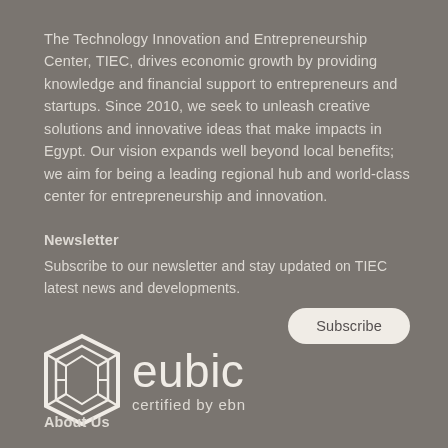The Technology Innovation and Entrepreneurship Center, TIEC, drives economic growth by providing knowledge and financial support to entrepreneurs and startups. Since 2010, we seek to unleash creative solutions and innovative ideas that make impacts in Egypt. Our vision expands well beyond local benefits; we aim for being a leading regional hub and world-class center for entrepreneurship and innovation.
Newsletter
Subscribe to our newsletter and stay updated on TIEC latest news and developments.
[Figure (logo): Subscribe button - white rounded pill button with text 'Subscribe']
[Figure (logo): Eubic logo - geometric hexagon-like icon in white with text 'eubic' and subtitle 'certified by ebn']
About Us